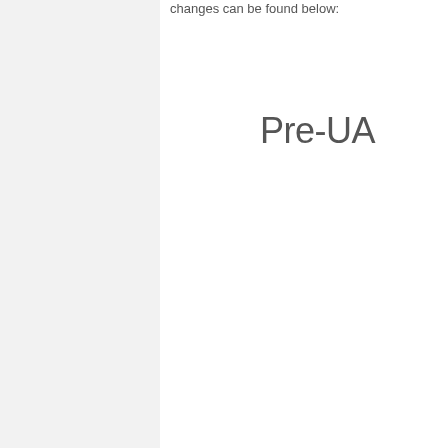changes can be found below:
Pre-UA